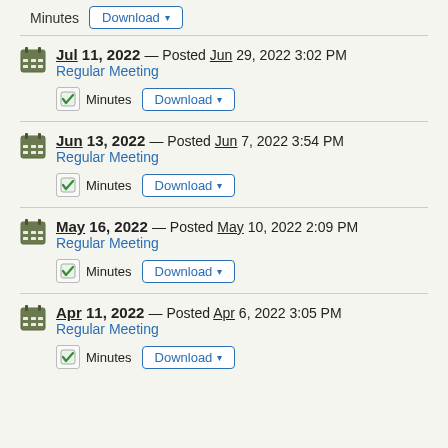Minutes  Download ▼
Jul 11, 2022 — Posted Jun 29, 2022 3:02 PM
Regular Meeting
Minutes  Download ▼
Jun 13, 2022 — Posted Jun 7, 2022 3:54 PM
Regular Meeting
Minutes  Download ▼
May 16, 2022 — Posted May 10, 2022 2:09 PM
Regular Meeting
Minutes  Download ▼
Apr 11, 2022 — Posted Apr 6, 2022 3:05 PM
Regular Meeting
Minutes  Download ▼